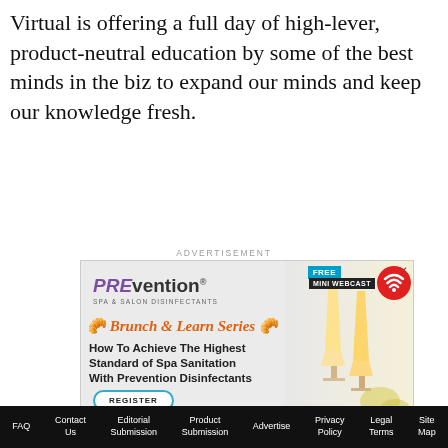Virtual is offering a full day of high-lever, product-neutral education by some of the best minds in the biz to expand our minds and keep our knowledge fresh.
ADVERTISEMENT
[Figure (other): Advertisement for Prevention Spa & Salon Disinfectants featuring a 'Brunch & Learn Series' webcast. Text reads: 'How To Achieve The Highest Standard of Spa Sanitation With Prevention Disinfectants'. Includes a Register button and photos of mimosa glasses.]
FAQ  Contact Us  Editorial Submission  Product Submission  Advertise  Privacy Policy  Legal Terms  Site Map